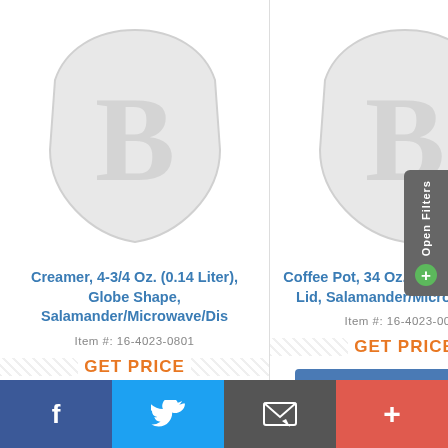[Figure (logo): Villeroy & Boch B shield badge watermark, left product]
Creamer, 4-3/4 Oz. (0.14 Liter), Globe Shape, Salamander/Microwave/Dis
Item #: 16-4023-0801
GET PRICE
[Figure (logo): Villeroy & Boch branded blue card, left]
[Figure (logo): Villeroy & Boch B shield badge watermark, right product]
Coffee Pot, 34 Oz. (1 Liter), Without Lid, Salamander/Microwave/Dis
Item #: 16-4023-0080
GET PRICE
[Figure (logo): Villeroy & Boch branded blue card, right]
Open Filters